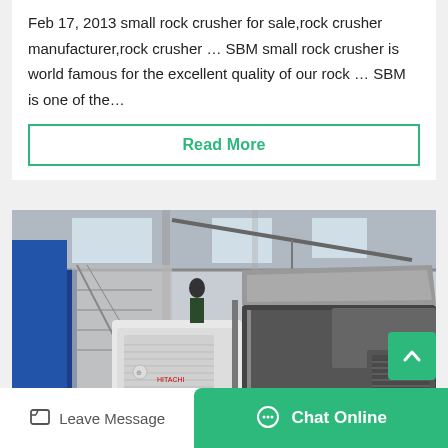Feb 17, 2013 small rock crusher for sale,rock crusher manufacturer,rock crusher … SBM small rock crusher is world famous for the excellent quality of our rock … SBM is one of the…
[Figure (other): Button: Read More, styled with green border and green text]
[Figure (photo): Industrial mobile rock crusher machine photographed in a manufacturing facility. Large wheeled mobile crusher with white and dark grey body, visible ventilation grilles, and industrial equipment in background including blue structures and a crane.]
[Figure (other): Scroll-to-top button: green square with upward-pointing chevron arrow]
Leave Message
Chat Online